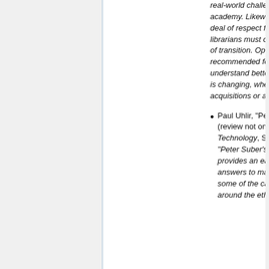real-world challenges common to the academy. Likewise, he clearly has a great deal of respect for the issues libraries and librarians must contend with in these times of transition. Open Access is highly recommended for anyone who wants to understand better how academic publishing is changing, whether from a library acquisitions or a publishing perspective."
Paul Uhlir, "Peter Suber, Open Access" (review not online), Issues in Science and Technology, Spring 2014, pp. 92-94. "Peter Suber's book Open Access provides an easy-to-read compendium of answers to many questions and blows up some of the canards that have been flying around the ether. Suber is one of the